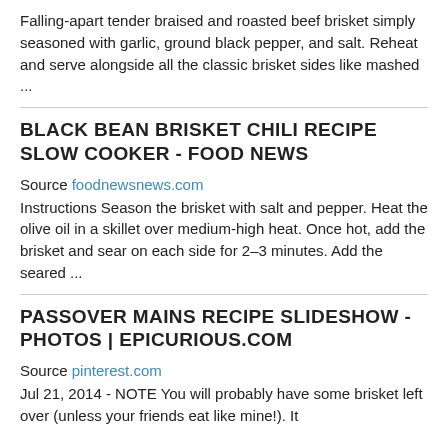Falling-apart tender braised and roasted beef brisket simply seasoned with garlic, ground black pepper, and salt. Reheat and serve alongside all the classic brisket sides like mashed ...
BLACK BEAN BRISKET CHILI RECIPE SLOW COOKER - FOOD NEWS
Source foodnewsnews.com
Instructions Season the brisket with salt and pepper. Heat the olive oil in a skillet over medium-high heat. Once hot, add the brisket and sear on each side for 2–3 minutes. Add the seared ...
PASSOVER MAINS RECIPE SLIDESHOW - PHOTOS | EPICURIOUS.COM
Source pinterest.com
Jul 21, 2014 - NOTE You will probably have some brisket left over (unless your friends eat like mine!). It